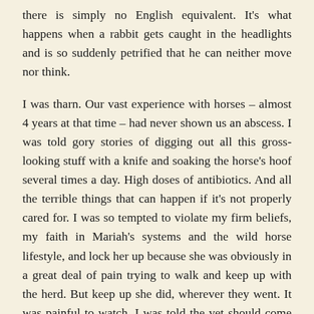there is simply no English equivalent. It's what happens when a rabbit gets caught in the headlights and is so suddenly petrified that he can neither move nor think.
I was tharn. Our vast experience with horses – almost 4 years at that time – had never shown us an abscess. I was told gory stories of digging out all this gross-looking stuff with a knife and soaking the horse's hoof several times a day. High doses of antibiotics. And all the terrible things that can happen if it's not properly cared for. I was so tempted to violate my firm beliefs, my faith in Mariah's systems and the wild horse lifestyle, and lock her up because she was obviously in a great deal of pain trying to walk and keep up with the herd. But keep up she did, wherever they went. It was painful to watch. I was told the vet should come and dig it out.
At someone's advice I tried soaking her foot in Epsom salts.